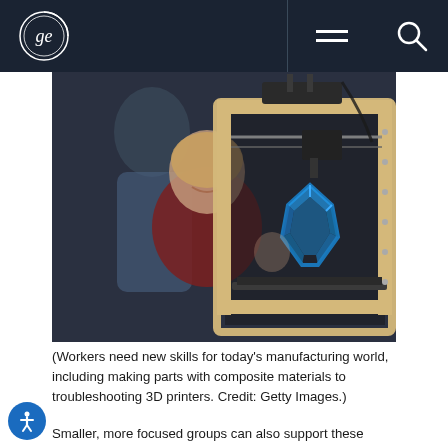GE Logo | Navigation menu | Search
[Figure (photo): Two people smiling and looking at a 3D printer that is printing a blue geometric shape, in a workshop setting. The focus is on the 3D printer in the foreground with a blue dodecahedron-like object being printed. Two people visible in blurred background.]
(Workers need new skills for today's manufacturing world, including making parts with composite materials to troubleshooting 3D printers. Credit: Getty Images.)
Smaller, more focused groups can also support these